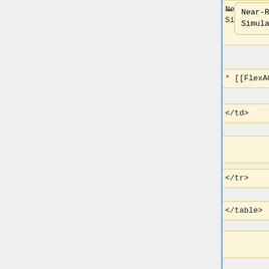[Figure (screenshot): Diff view showing code/markup comparison with yellow (left/removed) and blue (right/added) boxes. Rows include: 'Near-Real-Time Simulations]]', '* [[FlexAOD]]', '</td>', empty, '</tr>', '</table>', empty, HTML comment block with === lines and '==== -->', and '<!-- ===== REFERENCE: TITLE' entries. Each row has a minus sign on the left and plus sign between the two boxes.]